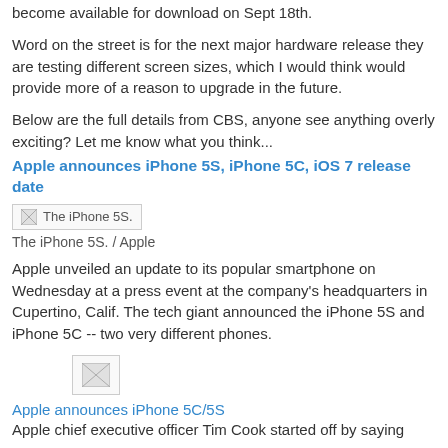become available for download on Sept 18th.
Word on the street is for the next major hardware release they are testing different screen sizes, which I would think would provide more of a reason to upgrade in the future.
Below are the full details from CBS, anyone see anything overly exciting?  Let me know what you think...
Apple announces iPhone 5S, iPhone 5C, iOS 7 release date
[Figure (photo): Broken image placeholder labeled 'The iPhone 5S.']
The iPhone 5S. / Apple
Apple unveiled an update to its popular smartphone on Wednesday at a press event at the company's headquarters in Cupertino, Calif. The tech giant announced the iPhone 5S and iPhone 5C -- two very different phones.
[Figure (photo): Small broken image placeholder]
Apple announces iPhone 5C/5S
Apple chief executive officer Tim Cook started off by saying